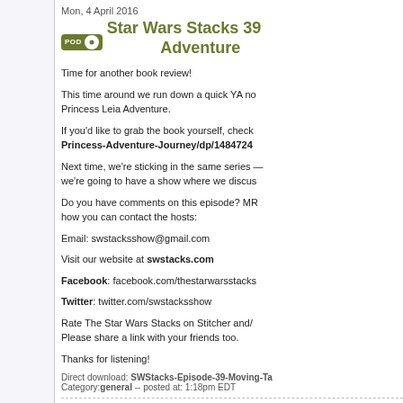Mon, 4 April 2016
Star Wars Stacks 39 Adventure
Time for another book review!
This time around we run down a quick YA novel — Princess Leia Adventure.
If you'd like to grab the book yourself, check Princess-Adventure-Journey/dp/148472...
Next time, we're sticking in the same series — we're going to have a show where we discuss...
Do you have comments on this episode? MR... how you can contact the hosts:
Email: swstacksshow@gmail.com
Visit our website at swstacks.com
Facebook: facebook.com/thestarwarsstacks...
Twitter: twitter.com/swstacksshow
Rate The Star Wars Stacks on Stitcher and/... Please share a link with your friends too.
Thanks for listening!
Direct download: SWStacks-Episode-39-Moving-Ta... Category: general -- posted at: 1:18pm EDT
Thu, 24 March 2016
Star Wars Stacks 3...